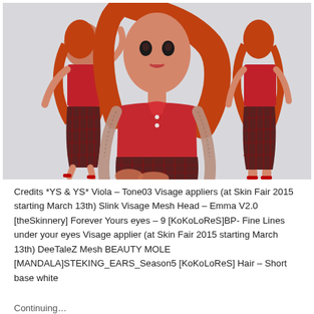[Figure (photo): Three poses of a female avatar with long red/auburn hair wearing a red polo shirt and plaid skirt with high heels. The center pose is a close-up frontal view, the left pose shows the avatar with one leg raised and arm up, and the right pose is a full-body side/rear view. The background is light gray-white.]
Credits *YS & YS* Viola – Tone03 Visage appliers (at Skin Fair 2015 starting March 13th) Slink Visage Mesh Head – Emma V2.0 [theSkinnery] Forever Yours eyes – 9 [KoKoLoReS]BP- Fine Lines under your eyes Visage applier (at Skin Fair 2015 starting March 13th) DeeTaleZ Mesh BEAUTY MOLE [MANDALA]STEKING_EARS_Season5 [KoKoLoReS] Hair – Short base white
Continuing...